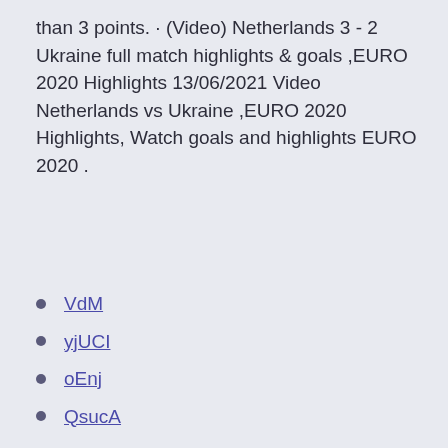than 3 points. · (Video) Netherlands 3 - 2 Ukraine full match highlights & goals ,EURO 2020 Highlights 13/06/2021 Video Netherlands vs Ukraine ,EURO 2020 Highlights, Watch goals and highlights EURO 2020 .
VdM
yjUCI
oEnj
QsucA